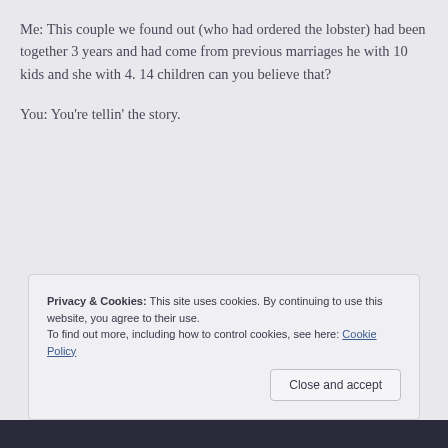Me: This couple we found out (who had ordered the lobster) had been together 3 years and had come from previous marriages he with 10 kids and she with 4. 14 children can you believe that?
You: You're tellin' the story.
Privacy & Cookies: This site uses cookies. By continuing to use this website, you agree to their use.
To find out more, including how to control cookies, see here: Cookie Policy